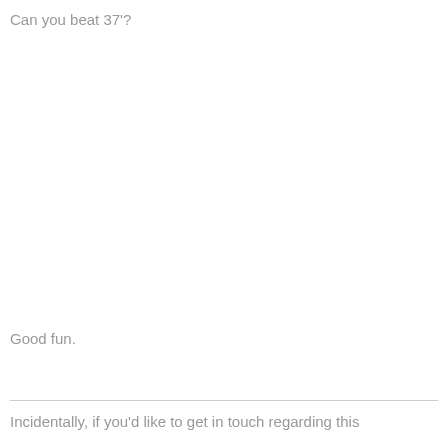Can you beat 37'?
Good fun.
Incidentally, if you'd like to get in touch regarding this